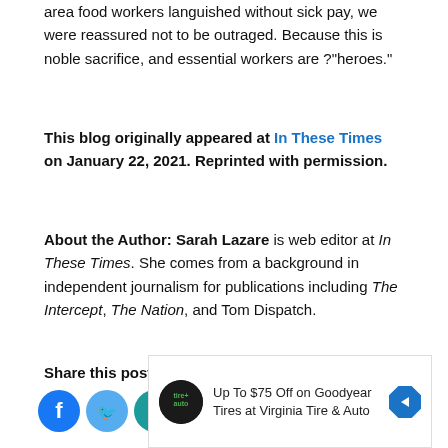area food workers languished without sick pay, we were reassured not to be outraged. Because this is noble sacrifice, and essential workers are ?"heroes."
This blog originally appeared at In These Times on January 22, 2021. Reprinted with permission.
About the Author: Sarah Lazare is web editor at In These Times. She comes from a background in independent journalism for publications including The Intercept, The Nation, and Tom Dispatch.
Share this post
[Figure (infographic): Row of social media sharing icons: Facebook (blue), Twitter (light blue), LinkedIn (teal), Pinterest (red), copy link (yellow-orange), email (green), Tumblr (dark navy), share (orange)]
[Figure (infographic): Advertisement: Up To $75 Off on Goodyear Tires at Virginia Tire & Auto, with Tire+Auto logo and blue diamond directional arrow icon]